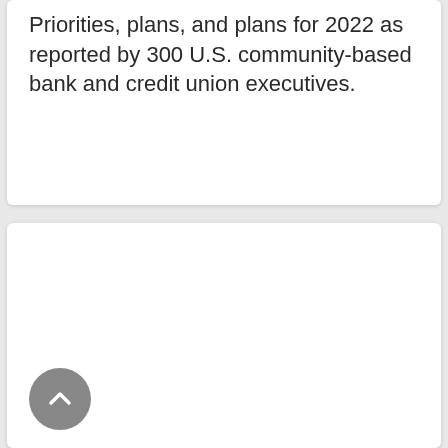Priorities, plans, and plans for 2022 as reported by 300 U.S. community-based bank and credit union executives.
[Figure (other): Empty white card panel below the text card, with a scroll-to-top button (circular gray button with upward chevron arrow) in the bottom left corner.]